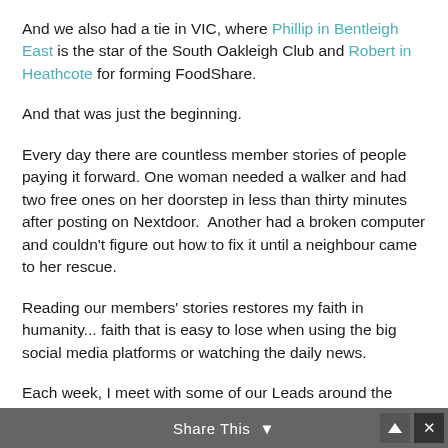And we also had a tie in VIC, where Phillip in Bentleigh East is the star of the South Oakleigh Club and Robert in Heathcote for forming FoodShare.
And that was just the beginning.
Every day there are countless member stories of people paying it forward. One woman needed a walker and had two free ones on her doorstep in less than thirty minutes after posting on Nextdoor.  Another had a broken computer and couldn't figure out how to fix it until a neighbour came to her rescue.
Reading our members' stories restores my faith in humanity... faith that is easy to lose when using the big social media platforms or watching the daily news.
Each week, I meet with some of our Leads around the country; members of our platform who volunteer to step up and run their community on Nextdoor.
Share This